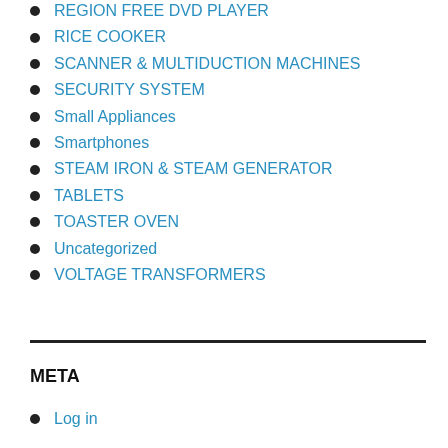REGION FREE DVD PLAYER
RICE COOKER
SCANNER & MULTIDUCTION MACHINES
SECURITY SYSTEM
Small Appliances
Smartphones
STEAM IRON & STEAM GENERATOR
TABLETS
TOASTER OVEN
Uncategorized
VOLTAGE TRANSFORMERS
META
Log in